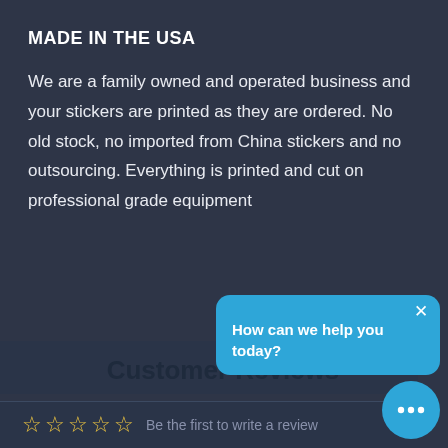MADE IN THE USA
We are a family owned and operated business and your stickers are printed as they are ordered. No old stock, no imported from China stickers and no outsourcing. Everything is printed and cut on professional grade equipment
[Figure (screenshot): Chat widget popup with blue background showing 'How can we help you today?' and a chat bubble icon below]
Customer Reviews
Be the first to write a review